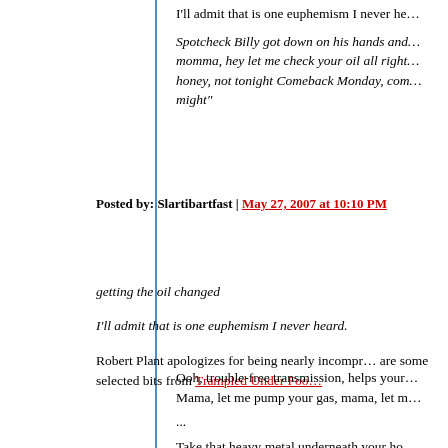I'll admit that is one euphemism I never he…
Spotcheck Billy got down on his hands and… momma, hey let me check your oil all right… honey, not tonight Comeback Monday, com… might"
Posted by: Slartibartfast | May 27, 2007 at 10:10 PM
getting the oil changed
I'll admit that is one euphemism I never heard.
Robert Plant apologizes for being nearly incompr… are some selected bits from Trampled Under Foo…
Ooh, trouble-free transmission, helps your… Mama, let me pump your gas, mama, let m… ... Take that heavy metal underneath your ho… Baby, I could work all night, leave a big pile…